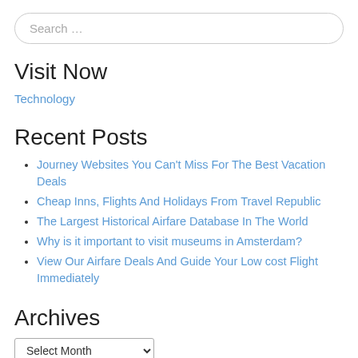Search …
Visit Now
Technology
Recent Posts
Journey Websites You Can't Miss For The Best Vacation Deals
Cheap Inns, Flights And Holidays From Travel Republic
The Largest Historical Airfare Database In The World
Why is it important to visit museums in Amsterdam?
View Our Airfare Deals And Guide Your Low cost Flight Immediately
Archives
Select Month